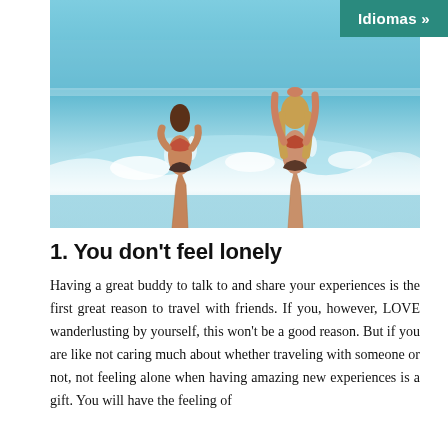[Figure (photo): Two women in bikinis running into ocean waves at the beach, viewed from behind, splashing water]
1. You don't feel lonely
Having a great buddy to talk to and share your experiences is the first great reason to travel with friends. If you, however, LOVE wanderlusting by yourself, this won't be a good reason. But if you are like not caring much about whether traveling with someone or not, not feeling alone when having amazing new experiences is a gift. You will have the feeling of